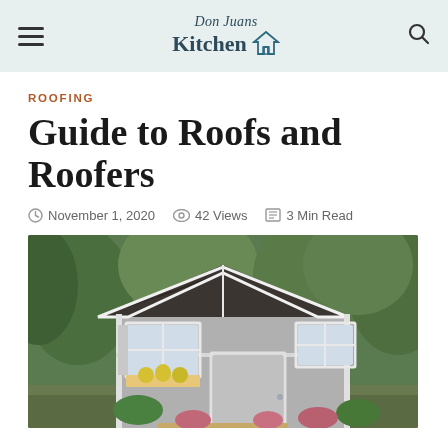Don Juans Kitchen
ROOFING
Guide to Roofs and Roofers
November 1, 2020   42 Views   3 Min Read
[Figure (photo): A gray garden shed with a dark shingle gable roof, white trim, two windows with shutters and a flower box, a large door, surrounded by lush green landscaping and flowers.]